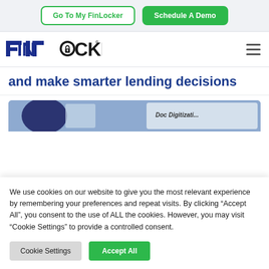Go To My FinLocker | Schedule A Demo
[Figure (logo): FinLocker logo with padlock icon in the letter O, in dark blue and black text]
and make smarter lending decisions
[Figure (screenshot): Partial image strip showing what appears to be a document digitization interface with blue background]
We use cookies on our website to give you the most relevant experience by remembering your preferences and repeat visits. By clicking “Accept All”, you consent to the use of ALL the cookies. However, you may visit “Cookie Settings” to provide a controlled consent.
Cookie Settings | Accept All